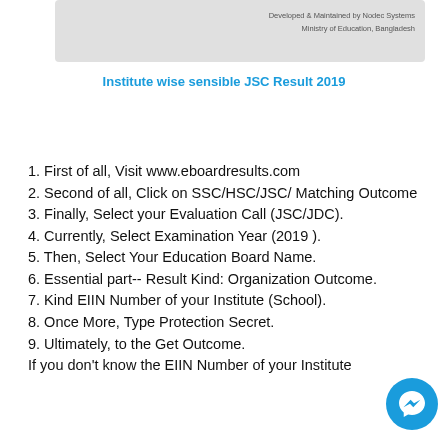Developed & Maintained by Nodec Systems
Ministry of Education, Bangladesh
Institute wise sensible JSC Result 2019
1. First of all, Visit www.eboardresults.com
2. Second of all, Click on SSC/HSC/JSC/ Matching Outcome
3. Finally, Select your Evaluation Call (JSC/JDC).
4. Currently, Select Examination Year (2019 ).
5. Then, Select Your Education Board Name.
6. Essential part-- Result Kind: Organization Outcome.
7. Kind EIIN Number of your Institute (School).
8. Once More, Type Protection Secret.
9. Ultimately, to the Get Outcome.